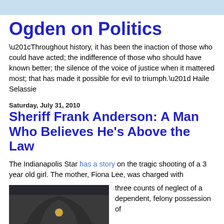Ogden on Politics
“Throughout history, it has been the inaction of those who could have acted; the indifference of those who should have known better; the silence of the voice of justice when it mattered most; that has made it possible for evil to triumph.” Haile Selassie
Saturday, July 31, 2010
Sheriff Frank Anderson: A Man Who Believes He’s Above the Law
The Indianapolis Star has a story on the tragic shooting of a 3 year old girl. The mother, Fiona Lee, was charged with three counts of neglect of a dependent, felony possession of
[Figure (photo): Close-up photo of a person wearing a dark sheriff’s hat with a gold star badge on the front, face partially visible below the brim]